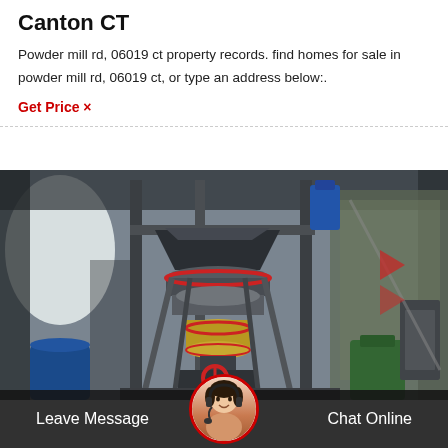Canton CT
Powder mill rd, 06019 ct property records. find homes for sale in powder mill rd, 06019 ct, or type an address below:.
Get Price ×
[Figure (photo): Industrial powder mill machinery inside a factory building, showing large grinding mill equipment with metal framework and conveyor components]
Leave Message   Chat Online